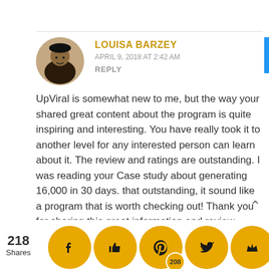LOUISA BARZEY
APRIL 9, 2018 AT 2:42 AM
REPLY
UpViral is somewhat new to me, but the way your shared great content about the program is quite inspiring and interesting. You have really took it to another level for any interested person can learn about it. The review and ratings are outstanding. I was reading your Case study about generating 16,000 in 30 days. that outstanding, it sound like a program that is worth checking out! Thank you for sharing this great information and review
218 Shares